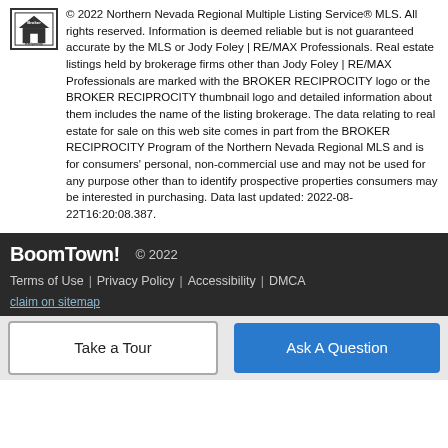© 2022 Northern Nevada Regional Multiple Listing Service® MLS. All rights reserved. Information is deemed reliable but is not guaranteed accurate by the MLS or Jody Foley | RE/MAX Professionals. Real estate listings held by brokerage firms other than Jody Foley | RE/MAX Professionals are marked with the BROKER RECIPROCITY logo or the BROKER RECIPROCITY thumbnail logo and detailed information about them includes the name of the listing brokerage. The data relating to real estate for sale on this web site comes in part from the BROKER RECIPROCITY Program of the Northern Nevada Regional MLS and is for consumers' personal, non-commercial use and may not be used for any purpose other than to identify prospective properties consumers may be interested in purchasing. Data last updated: 2022-08-22T16:20:08.387.
BoomTown! © 2022  Terms of Use | Privacy Policy | Accessibility | DMCA claim on sitemap
Take a Tour
Ask A Question